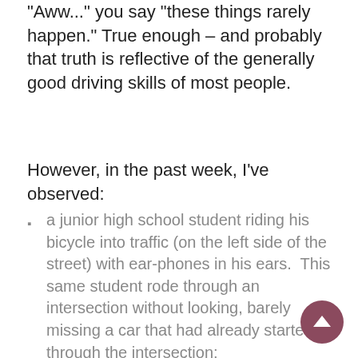"Aww..." you say "these things rarely happen." True enough – and probably that truth is reflective of the generally good driving skills of most people.
However, in the past week, I've observed:
a junior high school student riding his bicycle into traffic (on the left side of the street) with ear-phones in his ears.  This same student rode through an intersection without looking, barely missing a car that had already started through the intersection;
a high school student walking on the shoulder of Harvey Mitchell toward A&M Consolidated with her back to traffic (i.e.